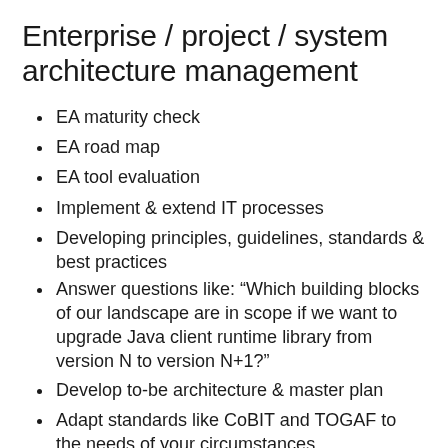Enterprise / project / system architecture management
EA maturity check
EA road map
EA tool evaluation
Implement & extend IT processes
Developing principles, guidelines, standards & best practices
Answer questions like: “Which building blocks of our landscape are in scope if we want to upgrade Java client runtime library from version N to version N+1?”
Develop to-be architecture & master plan
Adapt standards like CoBIT and TOGAF to the needs of your circumstances